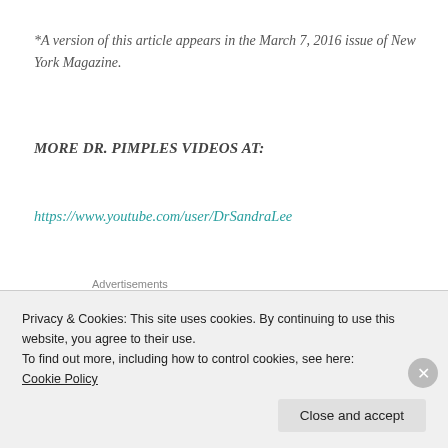*A version of this article appears in the March 7, 2016 issue of New York Magazine.
MORE DR. PIMPLES VIDEOS AT:
https://www.youtube.com/user/DrSandraLee
[Figure (other): Advertisement banner with light blue background showing cartoon icons of a person's head and documents]
Privacy & Cookies: This site uses cookies. By continuing to use this website, you agree to their use.
To find out more, including how to control cookies, see here:
Cookie Policy